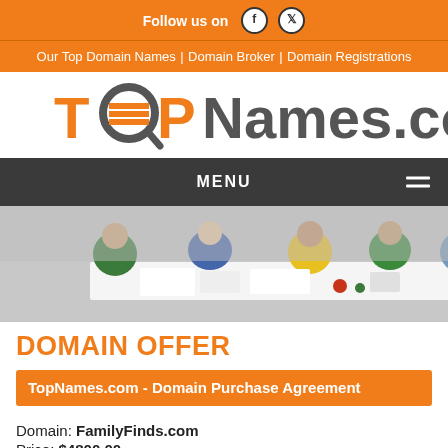Follow us on [Facebook] [Twitter]
Our Top Domain Names| Domain Broker| Domain Registrations
TOPNames.com
MENU
[Figure (photo): Overhead view of people working around a white table with laptops, papers, and devices]
DOMAIN OFFER
TopNames.com - Domain Purchase Agreement
Domain: FamilyFinds.com
Price: $4800.00